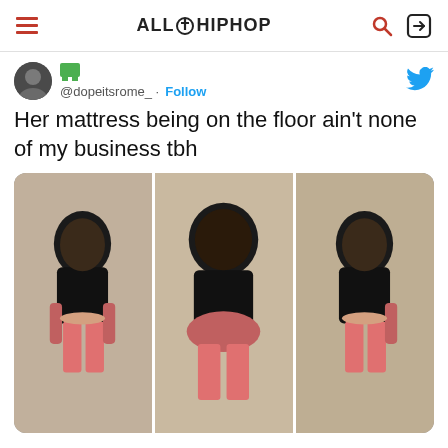ALL HIPHOP
@dopeitsrome_ · Follow
Her mattress being on the floor ain't none of my business tbh
[Figure (photo): Three mirror selfie photos of a woman wearing a black crop top and pink shorts, arranged side by side]